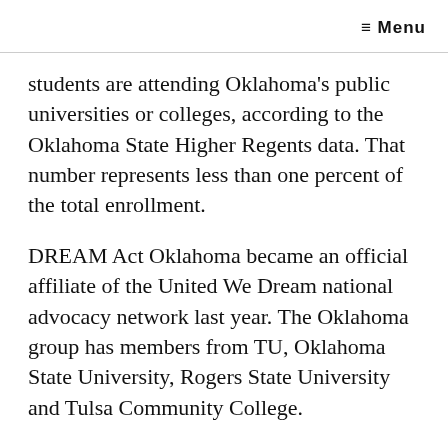≡ Menu
students are attending Oklahoma's public universities or colleges, according to the Oklahoma State Higher Regents data. That number represents less than one percent of the total enrollment.
DREAM Act Oklahoma became an official affiliate of the United We Dream national advocacy network last year. The Oklahoma group has members from TU, Oklahoma State University, Rogers State University and Tulsa Community College.